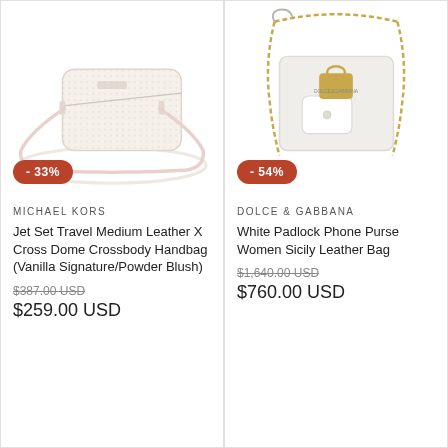[Figure (photo): Michael Kors white/cream crossbody handbag with pink shoulder strap on white background]
[Figure (photo): Dolce & Gabbana white padlock phone purse Sicily leather bag with gold chain strap on white background]
- 33%
- 54%
MICHAEL KORS
Jet Set Travel Medium Leather X Cross Dome Crossbody Handbag (Vanilla Signature/Powder Blush)
$387.00 USD
$259.00 USD
DOLCE & GABBANA
White Padlock Phone Purse Women Sicily Leather Bag
$1,640.00 USD
$760.00 USD